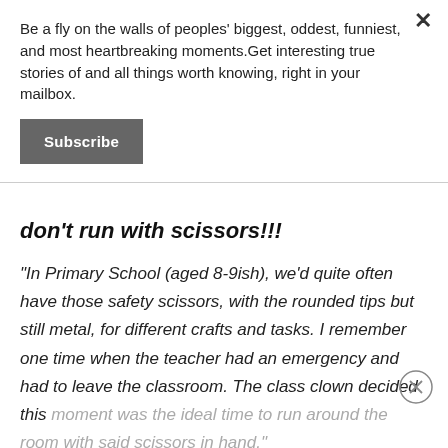Be a fly on the walls of peoples' biggest, oddest, funniest, and most heartbreaking moments.Get interesting true stories of and all things worth knowing, right in your mailbox.
Subscribe
don't run with scissors!!!
"In Primary School (aged 8-9ish), we'd quite often have those safety scissors, with the rounded tips but still metal, for different crafts and tasks. I remember one time when the teacher had an emergency and had to leave the classroom. The class clown decided this moment was the ideal time to run around the room with said scissors in hand."